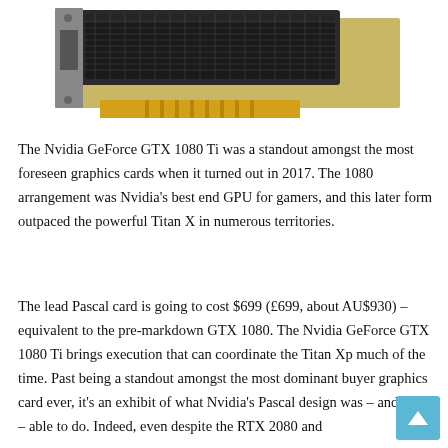[Figure (photo): Photo of an Nvidia GeForce GTX graphics card (GPU) shown at an angle, displaying the PCIe connector, heat spreader grille, and metal bracket. Black and silver coloring with gold PCIe fingers.]
The Nvidia GeForce GTX 1080 Ti was a standout amongst the most foreseen graphics cards when it turned out in 2017. The 1080 arrangement was Nvidia's best end GPU for gamers, and this later form outpaced the powerful Titan X in numerous territories.
The lead Pascal card is going to cost $699 (£699, about AU$930) – equivalent to the pre-markdown GTX 1080. The Nvidia GeForce GTX 1080 Ti brings execution that can coordinate the Titan Xp much of the time. Past being a standout amongst the most dominant buyer graphics card ever, it's an exhibit of what Nvidia's Pascal design was – and still is – able to do. Indeed, even despite the RTX 2080 and